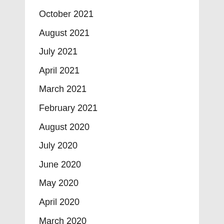October 2021
August 2021
July 2021
April 2021
March 2021
February 2021
August 2020
July 2020
June 2020
May 2020
April 2020
March 2020
February 2020